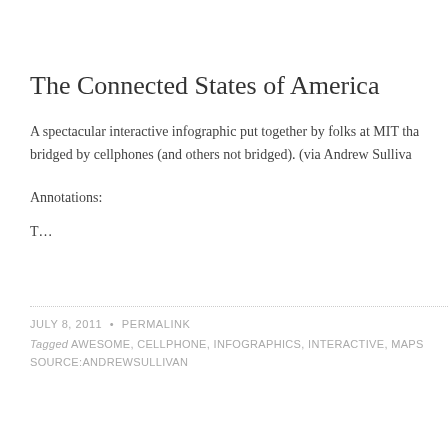The Connected States of America
A spectacular interactive infographic put together by folks at MIT tha... bridged by cellphones (and others not bridged). (via Andrew Sulliva...
Annotations:
T…
JULY 8, 2011 • PERMALINK
Tagged AWESOME, CELLPHONE, INFOGRAPHICS, INTERACTIVE, MAPS
SOURCE:ANDREWSULLIVAN